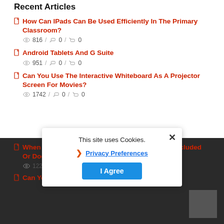Recent Articles
How Can IPads Can Be Used Efficiently In The Primary Classroom? — 816 / 0 / 0
Android Tablets And G Suite — 951 / 0 / 0
Can You Use The Interactive Whiteboard As A Projector Screen For Movies? — 1742 / 0 / 0
When Purchasing A IWB System Is A Projector Included Or Does It Need To Be Bought Separately? — 1226 / 0
Can You Upload... Recordings To ...